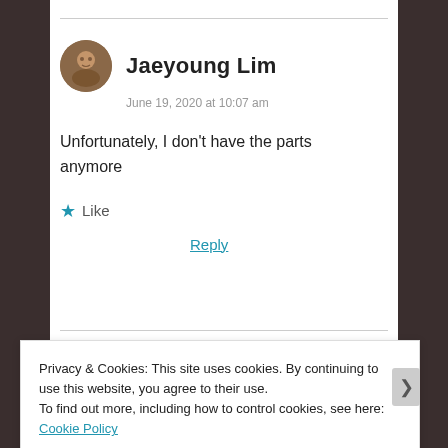Jaeyoung Lim
June 19, 2020 at 10:07 am
Unfortunately, I don't have the parts anymore
Like
Reply
Privacy & Cookies: This site uses cookies. By continuing to use this website, you agree to their use.
To find out more, including how to control cookies, see here: Cookie Policy
Close and accept